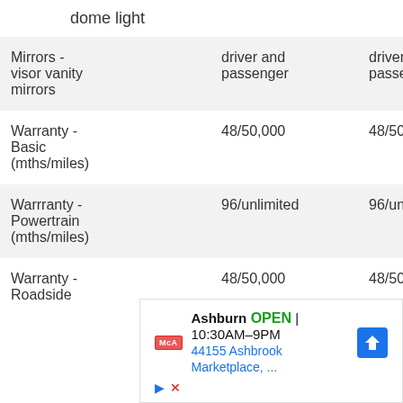dome light
| Feature | Col1 | Col2 | Col3 |
| --- | --- | --- | --- |
| Mirrors - visor vanity mirrors | driver and passenger | driver and passenger | driver and passenger |
| Warranty - Basic (mths/miles) | 48/50,000 | 48/50,000 | 48/50,000 |
| Warrranty - Powertrain (mths/miles) | 96/unlimited | 96/unlimited | 96/unlimit |
| Warranty - Roadside | 48/50,000 | 48/50,000 | 48/50,000 |
[Figure (other): Advertisement overlay for McA Ashburn location showing OPEN status, hours 10:30AM-9PM, address 44155 Ashbrook Marketplace, with navigation icon]